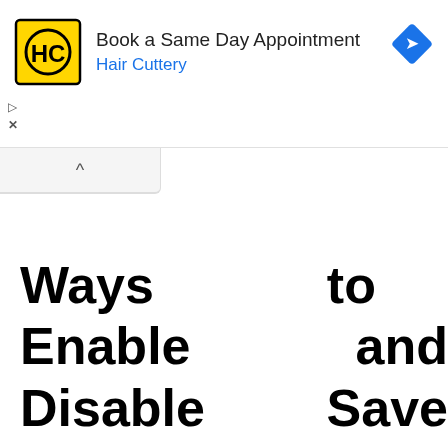[Figure (screenshot): Advertisement banner for Hair Cuttery: logo (HC in circle), text 'Book a Same Day Appointment' and 'Hair Cuttery' in blue, blue diamond arrow icon top right, AD controls (play and X icons) bottom left.]
[Figure (screenshot): Browser tab bar element showing a collapsed/minimized tab with an up caret (^) symbol.]
Ways to Enable and Disable Save Prompt on Microsoft Edge Download Windows 10